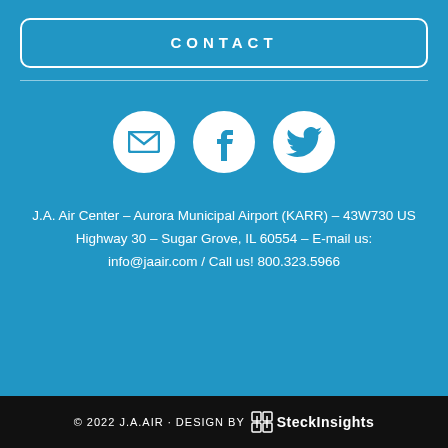CONTACT
[Figure (illustration): Three white circular icon buttons: email envelope, Facebook f, and Twitter bird icons on blue background]
J.A. Air Center – Aurora Municipal Airport (KARR) – 43W730 US Highway 30 – Sugar Grove, IL 60554 – E-mail us: info@jaair.com / Call us! 800.323.5966
© 2022 J.A.AIR · DESIGN BY SteckInsights